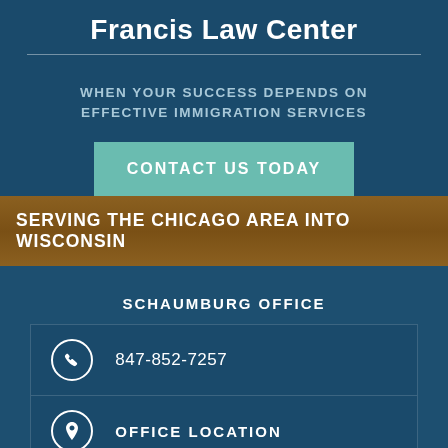Francis Law Center
WHEN YOUR SUCCESS DEPENDS ON EFFECTIVE IMMIGRATION SERVICES
CONTACT US TODAY
SERVING THE CHICAGO AREA INTO WISCONSIN
SCHAUMBURG OFFICE
847-852-7257
OFFICE LOCATION